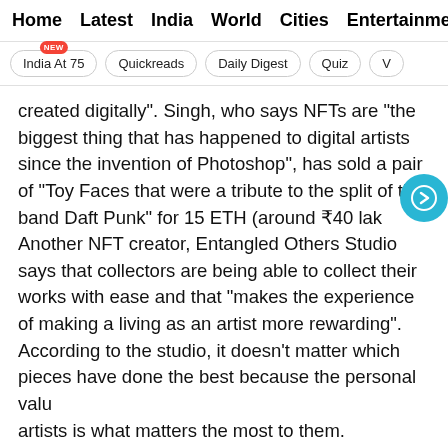Home  Latest  India  World  Cities  Entertainment
India At 75 (NEW)  Quickreads  Daily Digest  Quiz  V
created digitally". Singh, who says NFTs are "the biggest thing that has happened to digital artists since the invention of Photoshop", has sold a pair of "Toy Faces that were a tribute to the split of the band Daft Punk" for 15 ETH (around ₹40 lak Another NFT creator, Entangled Others Studio says that collectors are being able to collect their works with ease and that "makes the experience of making a living as an artist more rewarding". According to the studio, it doesn't matter which pieces have done the best because the personal value of artists is what matters the most to them.
[Figure (screenshot): Close Story button on gray background]
[Figure (screenshot): Open App red button overlay]